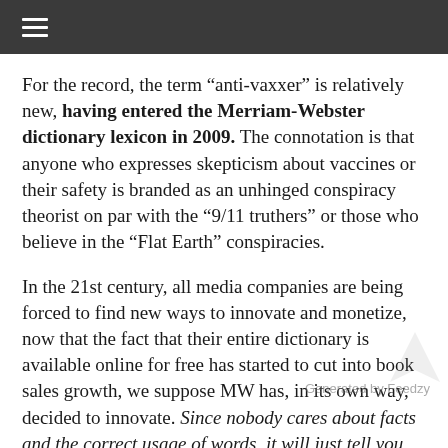≡
For the record, the term “anti-vaxxer” is relatively new, having entered the Merriam-Webster dictionary lexicon in 2009. The connotation is that anyone who expresses skepticism about vaccines or their safety is branded as an unhinged conspiracy theorist on par with the “9/11 truthers” or those who believe in the “Flat Earth” conspiracies.
In the 21st century, all media companies are being forced to find new ways to innovate and monetize, now that the fact that their entire dictionary is available online for free has started to cut into book sales growth, we suppose MW has, in its own way, decided to innovate. Since nobody cares about facts and the correct usage of words, it will just tell you